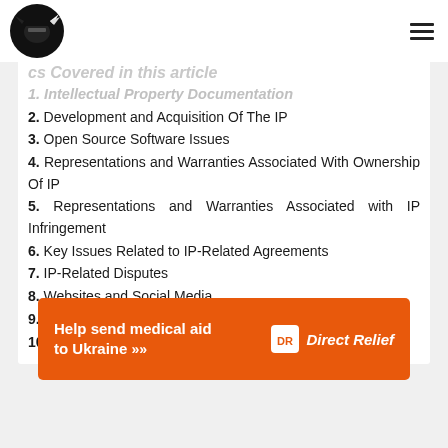Topics Covered in this article
1. Intellectual Property Documentation
2. Development and Acquisition Of The IP
3. Open Source Software Issues
4. Representations and Warranties Associated With Ownership Of IP
5. Representations and Warranties Associated with IP Infringement
6. Key Issues Related to IP-Related Agreements
7. IP-Related Disputes
8. Websites and Social Media
9. Data Protection and Privacy Issues
10. Scope of Indemnification by Seller On IP Issues
[Figure (infographic): Orange Direct Relief banner ad: Help send medical aid to Ukraine >> with Direct Relief logo]